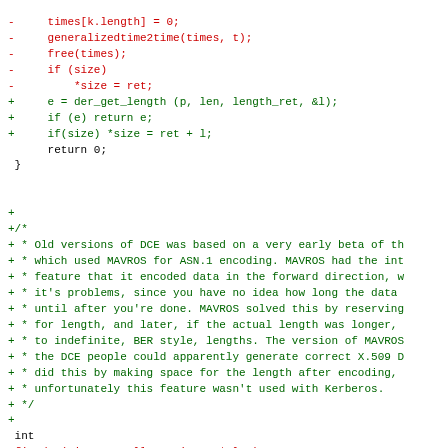Code diff showing removal of times[k.length]=0, generalizedtime2time(times,t), free(times), if(size) *size=ret; and addition of e=der_get_length, if(e) return e, if(size) *size=ret+l, return 0, closing brace. Then addition of a block comment about DCE and MAVROS, followed by int fix_dce / _heim_fix_dce function signatures and if(reallen == ASN1_INDEFINITE) diff.